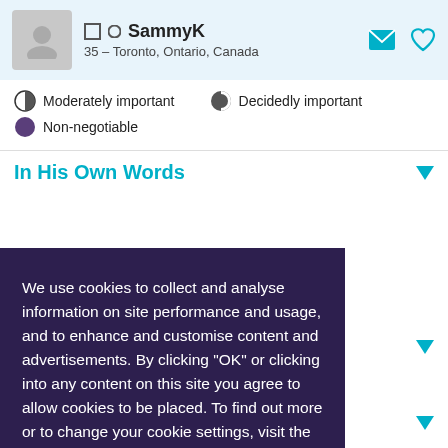[Figure (screenshot): User profile header with avatar, name SammyK, location 35 – Toronto, Ontario, Canada, online status circle, email and heart icons]
Moderately important
Decidedly important
Non-negotiable
In His Own Words
We use cookies to collect and analyse information on site performance and usage, and to enhance and customise content and advertisements. By clicking "OK" or clicking into any content on this site you agree to allow cookies to be placed. To find out more or to change your cookie settings, visit the cookies section of our Privacy Policy.
nendation yet.